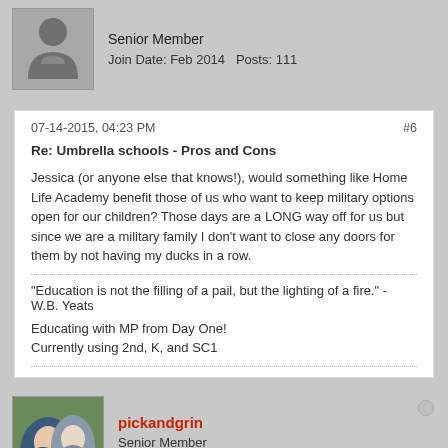Senior Member
Join Date: Feb 2014   Posts: 111
07-14-2015, 04:23 PM
#6
Re: Umbrella schools - Pros and Cons
Jessica (or anyone else that knows!), would something like Home Life Academy benefit those of us who want to keep military options open for our children? Those days are a LONG way off for us but since we are a military family I don't want to close any doors for them by not having my ducks in a row.
"Education is not the filling of a pail, but the lighting of a fire." - W.B. Yeats
Educating with MP from Day One!
Currently using 2nd, K, and SC1
pickandgrin
Senior Member
Join Date: Jun 2012   Posts: 5258